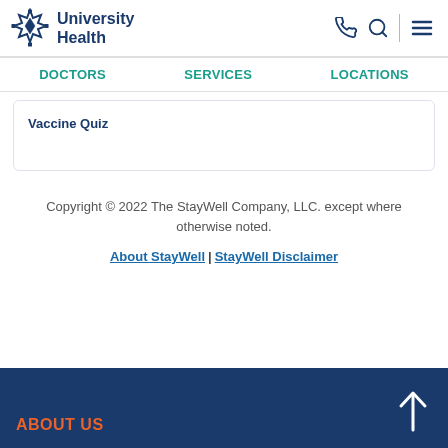[Figure (logo): University Health logo with star/snowflake icon and text 'University Health' in dark navy blue]
DOCTORS | SERVICES | LOCATIONS
Vaccine Quiz
Copyright © 2022 The StayWell Company, LLC. except where otherwise noted.
About StayWell | StayWell Disclaimer
ABOUT US